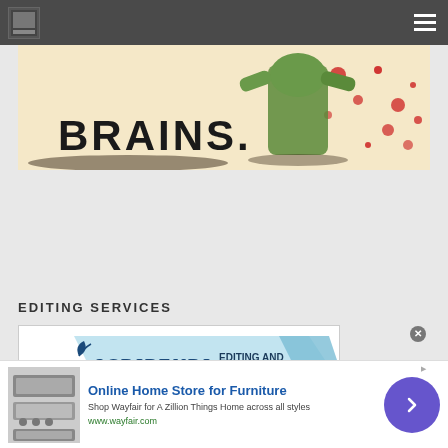Navigation bar with logo and hamburger menu
[Figure (illustration): Zombie-themed comic illustration with text 'BRAINS' and a zombie character with red splatter background]
EDITING SERVICES
[Figure (logo): Scribendi Editing and Proofreading banner advertisement with blue banner design and Scribendi logo]
[Figure (infographic): Advertisement: Online Home Store for Furniture - Shop Wayfair for A Zillion Things Home across all styles - www.wayfair.com, with furniture image and purple arrow button]